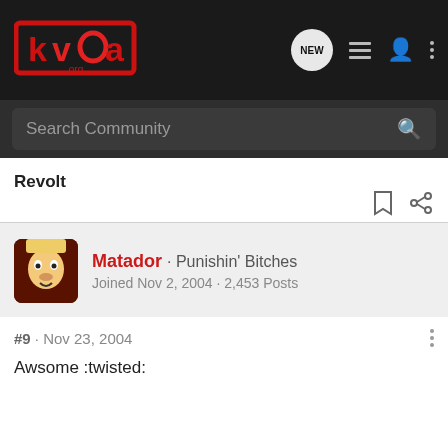[Figure (logo): KVoa.org logo in red on dark background]
Search Community
Revolt
Matador · Punishin' Bitches
Joined Nov 2, 2004 · 2,453 Posts
#9 · Nov 23, 2004
Awsome :twisted: